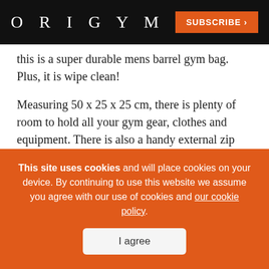ORIGYM | SUBSCRIBE >
this is a super durable mens barrel gym bag. Plus, it is wipe clean!
Measuring 50 x 25 x 25 cm, there is plenty of room to hold all your gym gear, clothes and equipment. There is also a handy external zip pocket to keep your important belongings separate.
This stylish men’s gym bag has a webbed carry handle as well as a detachable and adjustable
This site uses cookies and will place cookies on your device. By continuing to use this website we assume you agree with our use of cookies and our cookie policy.